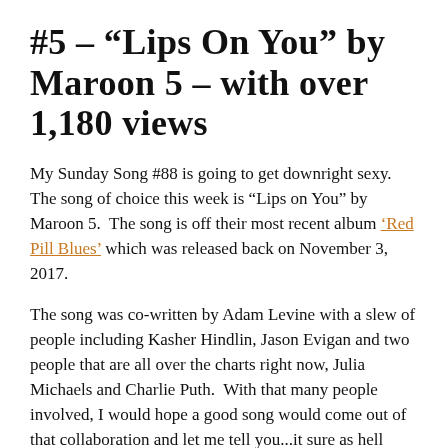#5 – "Lips On You" by Maroon 5 – with over 1,180 views
My Sunday Song #88 is going to get downright sexy. The song of choice this week is “Lips on You” by Maroon 5.  The song is off their most recent album ‘Red Pill Blues’ which was released back on November 3, 2017.
The song was co-written by Adam Levine with a slew of people including Kasher Hindlin, Jason Evigan and two people that are all over the charts right now, Julia Michaels and Charlie Puth.  With that many people involved, I would hope a good song would come out of that collaboration and let me tell you...it sure as hell